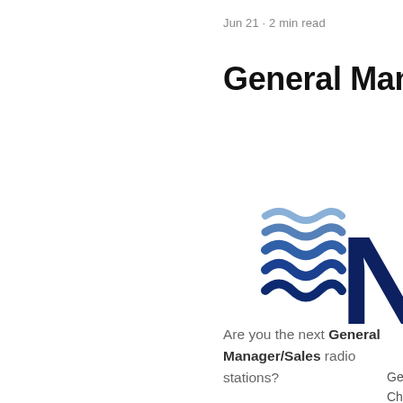Jun 21 · 2 min read
General Manager
[Figure (logo): Blue wavy lines logo alongside large dark blue letter N, partially cropped]
Gen
Cha
Are you the next General Manager/Sales radio stations?